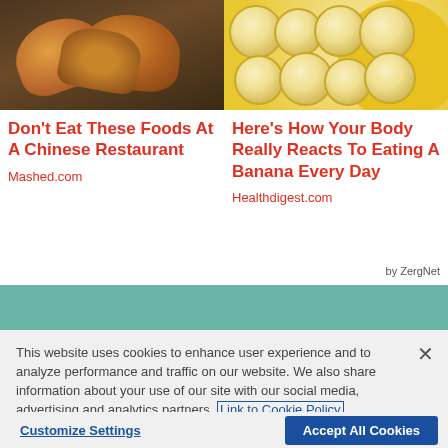[Figure (photo): Photo of fried Chinese food items on foil]
[Figure (photo): Photo of sliced bananas in a yellow bowl]
Don't Eat These Foods At A Chinese Restaurant
Here's How Your Body Really Reacts To Eating A Banana Every Day
Mashed.com
Healthdigest.com
by ZergNet
This website uses cookies to enhance user experience and to analyze performance and traffic on our website. We also share information about your use of our site with our social media, advertising and analytics partners. Link to Cookie Policy
Customize Settings
Accept All Cookies